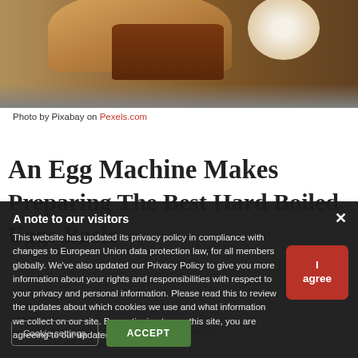[Figure (photo): Food photo showing bread/toast and eggs on a tray, partially visible at the top of the page]
Photo by Pixabay on Pexels.com
An Egg Machine Makes Preparing The Best Hard Boiled Eggs Basic
A note to our visitors
This website has updated its privacy policy in compliance with changes to European Union data protection law, for all members globally. We've also updated our Privacy Policy to give you more information about your rights and responsibilities with respect to your privacy and personal information. Please read this to review the updates about which cookies we use and what information we collect on our site. By continuing to use this site, you are agreeing to our updated privacy policy.
Cookie settings   ACCEPT